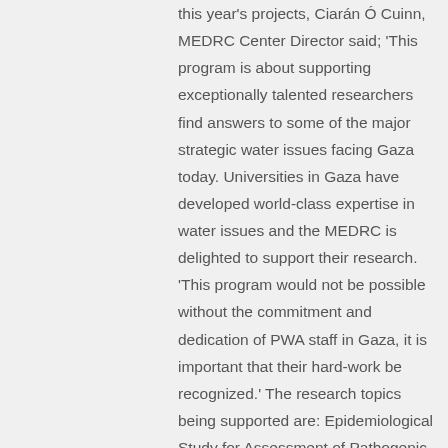this year's projects, Ciarán Ó Cuinn, MEDRC Center Director said; 'This program is about supporting exceptionally talented researchers find answers to some of the major strategic water issues facing Gaza today. Universities in Gaza have developed world-class expertise in water issues and the MEDRC is delighted to support their research. 'This program would not be possible without the commitment and dedication of PWA staff in Gaza, it is important that their hard-work be recognized.' The research topics being supported are: Epidemiological Study for Assessment of Pathogenic Hazards from Waste Water Reuse in Agriculture Challenges in Microbial Fuel Cell Development in Gaza Strip : Dynamic Modeling of a Realistic Technology for Sustainable Electricity Production and Efficient Waste Water